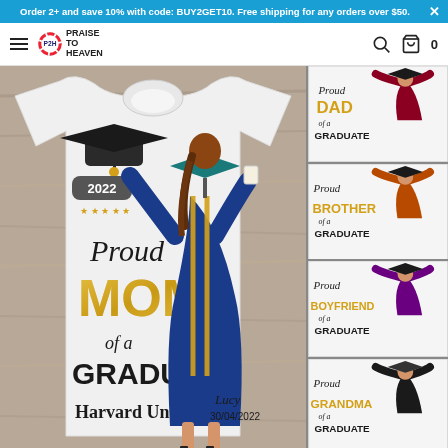Order 2+ and save 10% with code: BUY2GET10. Free shipping for any orders over $50.
[Figure (logo): Praise to Heaven rainbow logo with hamburger menu, search icon, and cart icon showing 0]
[Figure (photo): Main product image: white t-shirt with 'Proud MOM of a GRADUATE Harvard University 2022 Lucy 30/04/2022' design, featuring graduation figure in blue cap and gown]
[Figure (photo): Thumbnail 1: Proud DAD of a GRADUATE design with maroon gown figure]
[Figure (photo): Thumbnail 2: Proud BROTHER of a GRADUATE design with orange gown figure]
[Figure (photo): Thumbnail 3: Proud BOYFRIEND of a GRADUATE design with purple gown figure]
[Figure (photo): Thumbnail 4: Proud GRANDMA of a GRADUATE design with black gown figure]